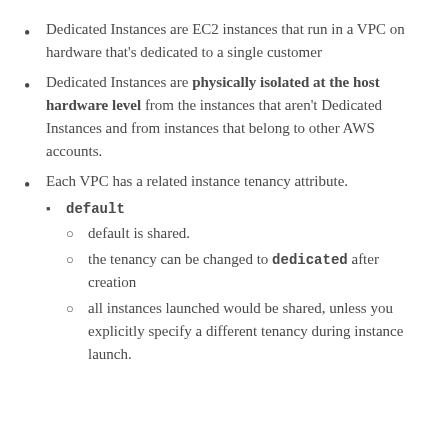Dedicated Instances are EC2 instances that run in a VPC on hardware that's dedicated to a single customer
Dedicated Instances are physically isolated at the host hardware level from the instances that aren't Dedicated Instances and from instances that belong to other AWS accounts.
Each VPC has a related instance tenancy attribute.
default
default is shared.
the tenancy can be changed to dedicated after creation
all instances launched would be shared, unless you explicitly specify a different tenancy during instance launch.